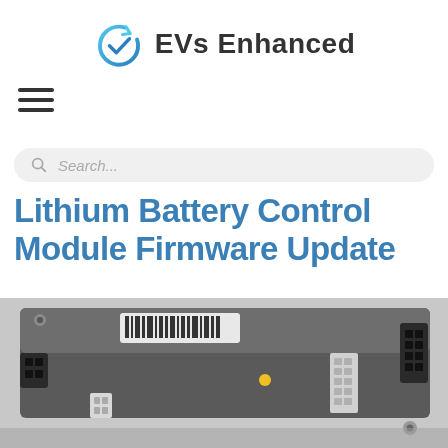EVs Enhanced
[Figure (logo): EVs Enhanced logo with circular arrow/check icon in blue and teal gradient, followed by bold text 'EVs Enhanced']
[Figure (other): Hamburger menu icon — three horizontal dark lines]
[Figure (other): Search bar with magnifying glass icon and placeholder text 'Search...']
Lithium Battery Control Module Firmware Update
[Figure (photo): Close-up photo of a lithium battery control module — a black metal ECU-style enclosure with multiple white and black multi-pin connectors on each side, a barcode label on top, and a yellow dot marking on the surface.]